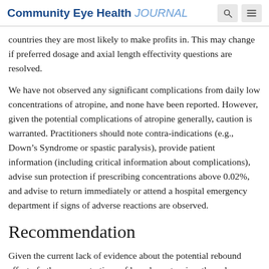Community Eye Health JOURNAL
countries they are most likely to make profits in. This may change if preferred dosage and axial length effectivity questions are resolved.
We have not observed any significant complications from daily low concentrations of atropine, and none have been reported. However, given the potential complications of atropine generally, caution is warranted. Practitioners should note contra-indications (e.g., Down’s Syndrome or spastic paralysis), provide patient information (including critical information about complications), advise sun protection if prescribing concentrations above 0.02%, and advise to return immediately or attend a hospital emergency department if signs of adverse reactions are observed.
Recommendation
Given the current lack of evidence about the potential rebound effect of other concentrations of low-dose atropine, the only treatment regimen we can safely recommend is 0.01%